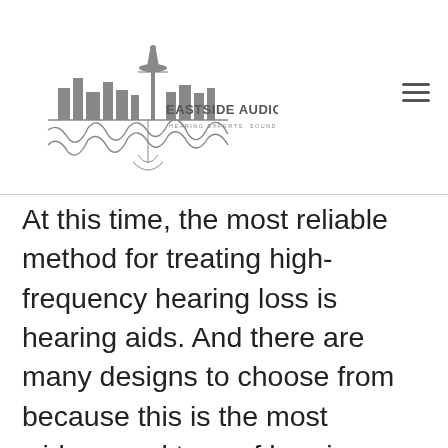EASTSIDE AUDIOLOGY — HEARING EXPERTS. SOUND ADVICE.
At this time, the most reliable method for treating high-frequency hearing loss is hearing aids. And there are many designs to choose from because this is the most widespread type of hearing loss. Hearing aids can augment high-pitched sounds so they are crisper to the user. You can directly manage your level and extent of hearing loss by having your hearing care pro fine-tune your hearing aid to improve your ability to hear sounds at the right level. Some hearing aids can be manipulated by your phone and come with directional